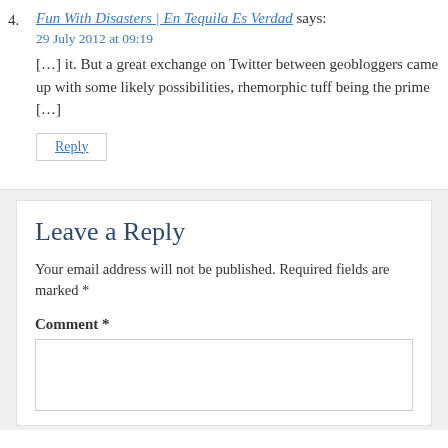4. Fun With Disasters | En Tequila Es Verdad says:
29 July 2012 at 09:19
[…] it. But a great exchange on Twitter between geobloggers came up with some likely possibilities, rhemorphic tuff being the prime […]
Reply
Leave a Reply
Your email address will not be published. Required fields are marked *
Comment *